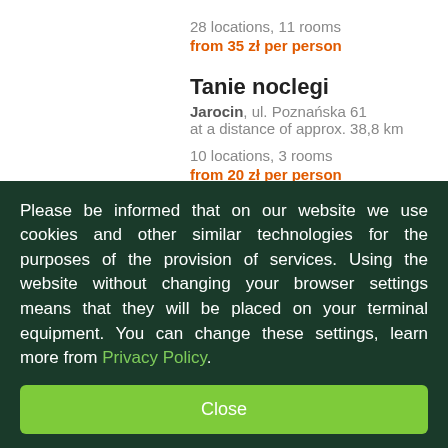28 locations, 11 rooms
from 35 zł per person
Tanie noclegi
Jarocin, ul. Poznańska 61
at a distance of approx. 38,8 km
10 locations, 3 rooms
from 20 zł per person
Pokoje Gościnne "LaMa" Marcin La…
Gołuchów, ul. Stefana Żeromskiego 1
Please be informed that on our website we use cookies and other similar technologies for the purposes of the provision of services. Using the website without changing your browser settings means that they will be placed on your terminal equipment. You can change these settings, learn more from Privacy Policy.
Close